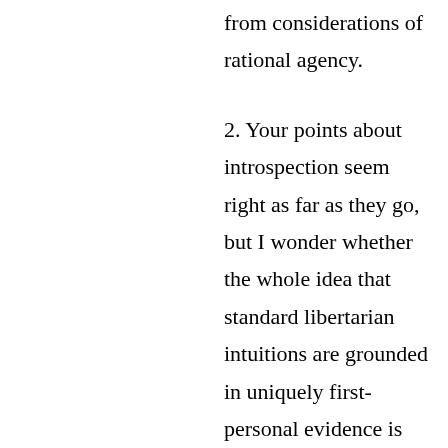from considerations of rational agency.
2. Your points about introspection seem right as far as they go, but I wonder whether the whole idea that standard libertarian intuitions are grounded in uniquely first-personal evidence is mistaken. Our understanding of ourselves